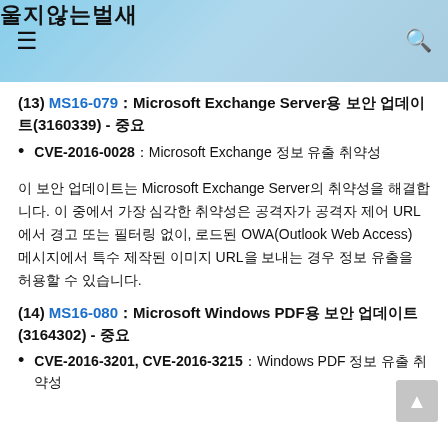울지않는벌새
(13) MS16-079：Microsoft Exchange Server용 보안 업데이트(3160339) - 중요
CVE-2016-0028：Microsoft Exchange 정보 유출 취약성
이 보안 업데이트는 Microsoft Exchange Server의 취약성을 해결합니다. 이 중에서 가장 심각한 취약성은 공격자가 공격자 제어 URL에서 경고 또는 필터링 없이, 로드된 OWA(Outlook Web Access) 메시지에서 특수 제작된 이미지 URL을 보내는 경우 정보 유출을 허용할 수 있습니다.
(14) MS16-080：Microsoft Windows PDF용 보안 업데이트(3164302) - 중요
CVE-2016-3201, CVE-2016-3215：Windows PDF 정보 유출 취약성